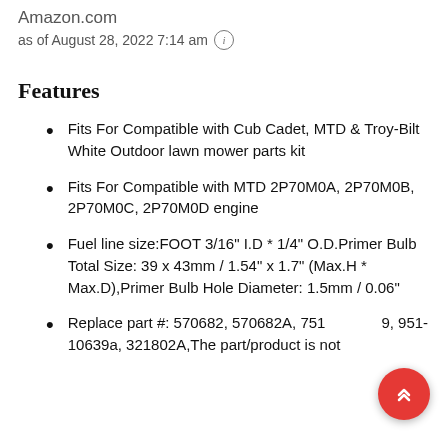Amazon.com
as of August 28, 2022 7:14 am ℹ
Features
Fits For Compatible with Cub Cadet, MTD & Troy-Bilt White Outdoor lawn mower parts kit
Fits For Compatible with MTD 2P70M0A, 2P70M0B, 2P70M0C, 2P70M0D engine
Fuel line size:FOOT 3/16" I.D * 1/4" O.D.Primer Bulb Total Size: 39 x 43mm / 1.54" x 1.7" (Max.H * Max.D),Primer Bulb Hole Diameter: 1.5mm / 0.06"
Replace part #: 570682, 570682A, 751-10639, 951-10639a, 321802A,The part/product is not